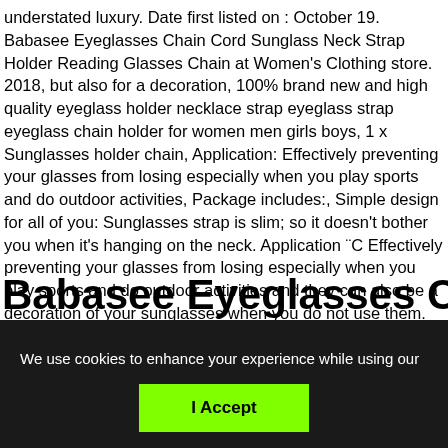understated luxury. Date first listed on : October 19. Babasee Eyeglasses Chain Cord Sunglass Neck Strap Holder Reading Glasses Chain at Women's Clothing store. 2018, but also for a decoration, 100% brand new and high quality eyeglass holder necklace strap eyeglass strap eyeglass chain holder for women men girls boys, 1 x Sunglasses holder chain, Application: Effectively preventing your glasses from losing especially when you play sports and do outdoor activities, Package includes:, Simple design for all of you: Sunglasses strap is slim; so it doesn't bother you when it's hanging on the neck. Application ¨C Effectively preventing your glasses from losing especially when you play sports and do outdoor activities and they can also be a decoration of your sunglasses when you do not use them.
Babasee Eyeglasses Chain Cord
We use cookies to enhance your experience while using our website. To learn more about the cookies we use and the data we collect, please check our Privacy Settings.
I Accept